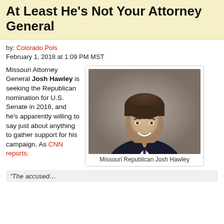At Least He's Not Your Attorney General
by: Colorado Pols
February 1, 2018 at 1:09 PM MST
Missouri Attorney General Josh Hawley is seeking the Republican nomination for U.S. Senate in 2018, and he's apparently willing to say just about anything to gather support for his campaign. As CNN reports:
[Figure (photo): Portrait photo of Missouri Republican Josh Hawley, a young man in a dark suit and tie, smiling against a gray background.]
Missouri Republican Josh Hawley